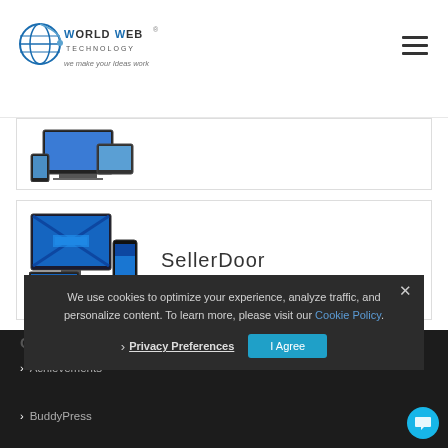World Web Technology — we make your Ideas work
[Figure (screenshot): Partial card showing responsive website mockup on desktop and tablet devices]
[Figure (screenshot): Card showing SellerDoor with responsive website mockup on desktop, phone, and tablet devices]
SellerDoor
We use cookies to optimize your experience, analyze traffic, and personalize content. To learn more, please visit our Cookie Policy.
Privacy Preferences
I Agree
Categories
Achievements
BuddyPress